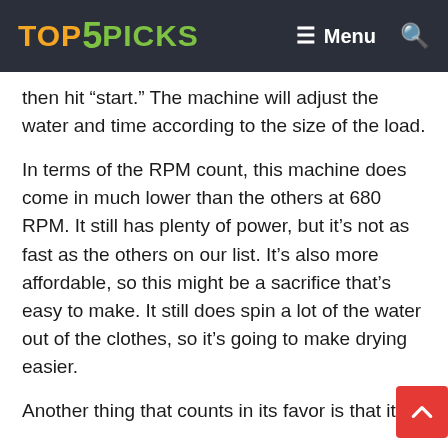TOP5PICKS | Menu
then hit “start.” The machine will adjust the water and time according to the size of the load.
In terms of the RPM count, this machine does come in much lower than the others at 680 RPM. It still has plenty of power, but it’s not as fast as the others on our list. It’s also more affordable, so this might be a sacrifice that’s easy to make. It still does spin a lot of the water out of the clothes, so it’s going to make drying easier.
Another thing that counts in its favor is that it